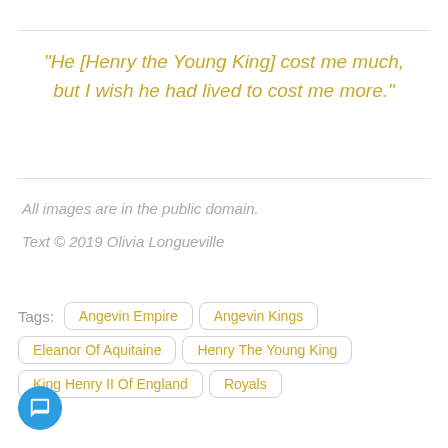“He [Henry the Young King] cost me much, but I wish he had lived to cost me more.”
All images are in the public domain.
Text © 2019 Olivia Longueville
Tags: Angevin Empire  Angevin Kings  Eleanor Of Aquitaine  Henry The Young King  King Henry II Of England  Royals